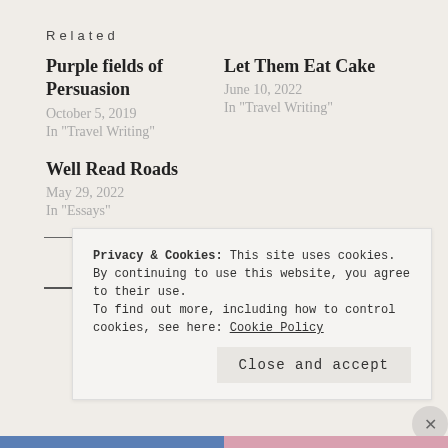Related
Purple fields of Persuasion
October 5, 2019
In "Travel Writing"
Let Them Eat Cake
June 10, 2022
In "Travel Writing"
Well Read Roads
May 29, 2022
In "Essays"
« Previous  /  Next »
Privacy & Cookies: This site uses cookies. By continuing to use this website, you agree to their use.
To find out more, including how to control cookies, see here: Cookie Policy
Close and accept